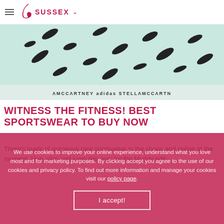≡ [heel icon] SUSSEX ∨
[Figure (photo): Stella McCartney Adidas sportswear bra top in mint green with black pattern, showing brand text 'STELLA McCARTNEY ADIDAS STELLAMCCARTN']
WITNESS THE FITNESS! BEST SPORTSWEAR TO BUY NOW
There's loads of gorgeous new sportswear in the shops and online at the moment. Hop, skip and jump this way for the Muddy edit.
We use cookies to improve your online experience, understand what you love most and for marketing purposes. By clicking accept you agree to the use of our cookies and privacy policy. To find out more information and manage your cookies visit our policy page.